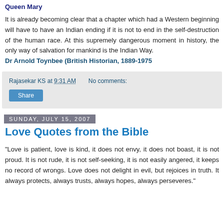Queen Mary
It is already becoming clear that a chapter which had a Western beginning will have to have an Indian ending if it is not to end in the self-destruction of the human race. At this supremely dangerous moment in history, the only way of salvation for mankind is the Indian Way.
Dr Arnold Toynbee (British Historian, 1889-1975
Rajasekar KS at 9:31 AM   No comments:
Share
Sunday, July 15, 2007
Love Quotes from the Bible
"Love is patient, love is kind, it does not envy, it does not boast, it is not proud. It is not rude, it is not self-seeking, it is not easily angered, it keeps no record of wrongs. Love does not delight in evil, but rejoices in truth. It always protects, always trusts, always hopes, always perseveres."